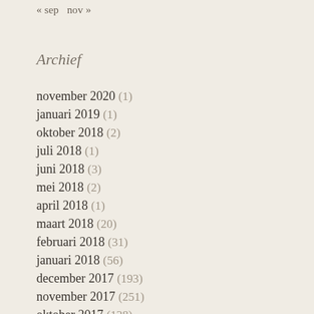« sep   nov »
Archief
november 2020 (1)
januari 2019 (1)
oktober 2018 (2)
juli 2018 (1)
juni 2018 (3)
mei 2018 (2)
april 2018 (1)
maart 2018 (20)
februari 2018 (31)
januari 2018 (56)
december 2017 (193)
november 2017 (251)
oktober 2017 (138)
september 2017 (298)